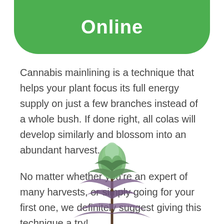Online
Cannabis mainlining is a technique that helps your plant focus its full energy supply on just a few branches instead of a whole bush. If done right, all colas will develop similarly and blossom into an abundant harvest.
No matter whether you’re an expert of many harvests, or simply going for your first one, we definitely suggest giving this technique a try!
[Figure (photo): A cannabis plant with purple-tinged leaves and a flowering cola bud at the top, shown against a white background.]